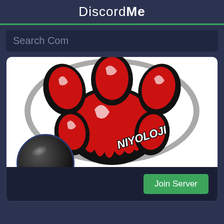DiscordMe
Search Com
[Figure (logo): A red and black animal paw print logo with white highlights and the text 'NIYOLOJI' written diagonally in italic on the lower right of the paw. Below left is a dark circular server avatar icon with a black sphere and glossy highlight.]
Join Server